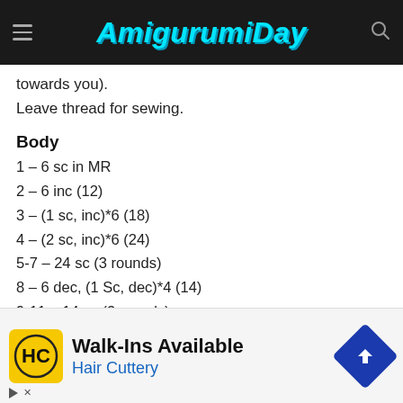AmigurumiDay
towards you).
Leave thread for sewing.
Body
1 – 6 sc in MR
2 – 6 inc (12)
3 – (1 sc, inc)*6 (18)
4 – (2 sc, inc)*6 (24)
5-7 – 24 sc (3 rounds)
8 – 6 dec, (1 Sc, dec)*4 (14)
9-11 – 14 sc (3 rounds)
12 – (5 sc, dec)*2 (12)
…sc
[Figure (infographic): Advertisement for Hair Cuttery Walk-Ins Available]